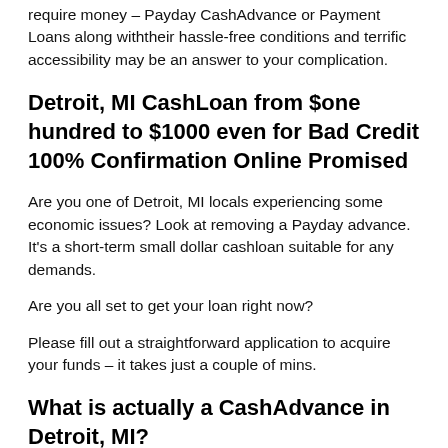require money – Payday CashAdvance or Payment Loans along withtheir hassle-free conditions and terrific accessibility may be an answer to your complication.
Detroit, MI CashLoan from $one hundred to $1000 even for Bad Credit 100% Confirmation Online Promised
Are you one of Detroit, MI locals experiencing some economic issues? Look at removing a Payday advance. It's a short-term small dollar cashloan suitable for any demands.
Are you all set to get your loan right now?
Please fill out a straightforward application to acquire your funds – it takes just a couple of mins.
What is actually a CashAdvance in Detroit, MI?